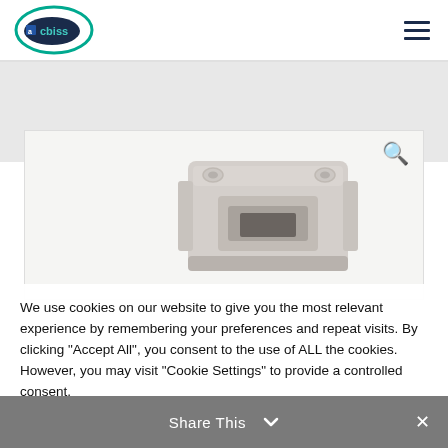[Figure (logo): acbiss company logo — oval shape with teal/green border and dark blue ellipse, text 'acbiss' in teal]
[Figure (photo): Close-up product photo of a gray/beige industrial mounting bracket or connector housing component, partially cropped]
We use cookies on our website to give you the most relevant experience by remembering your preferences and repeat visits. By clicking "Accept All", you consent to the use of ALL the cookies. However, you may visit "Cookie Settings" to provide a controlled consent.
Cookie Settings
Accept All
Share This ∨
✕